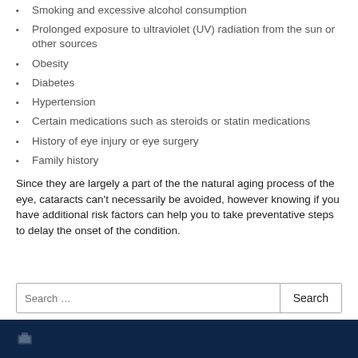Smoking and excessive alcohol consumption
Prolonged exposure to ultraviolet (UV) radiation from the sun or other sources
Obesity
Diabetes
Hypertension
Certain medications such as steroids or statin medications
History of eye injury or eye surgery
Family history
Since they are largely a part of the the natural aging process of the eye, cataracts can't necessarily be avoided, however knowing if you have additional risk factors can help you to take preventative steps to delay the onset of the condition.